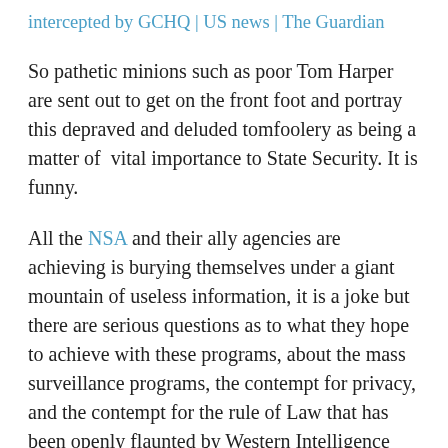intercepted by GCHQ | US news | The Guardian
So pathetic minions such as poor Tom Harper are sent out to get on the front foot and portray this depraved and deluded tomfoolery as being a matter of vital importance to State Security. It is funny.
All the NSA and their ally agencies are achieving is burying themselves under a giant mountain of useless information, it is a joke but there are serious questions as to what they hope to achieve with these programs, about the mass surveillance programs, the contempt for privacy, and the contempt for the rule of Law that has been openly flaunted by Western Intelligence agencies since September 11th,